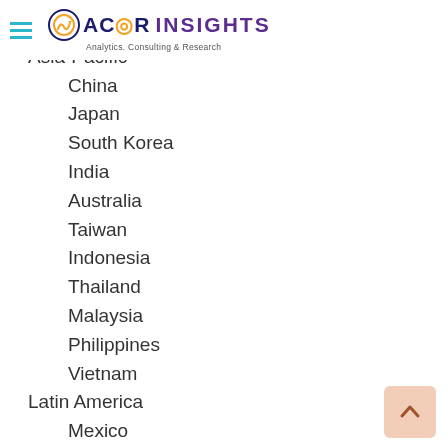ACOR INSIGHTS Analytics. Consulting & Research
Russia
Asia-Pacific
China
Japan
South Korea
India
Australia
Taiwan
Indonesia
Thailand
Malaysia
Philippines
Vietnam
Latin America
Mexico
Brazil
Argentina
Middle East & Africa
Turkey (partial, cut off)